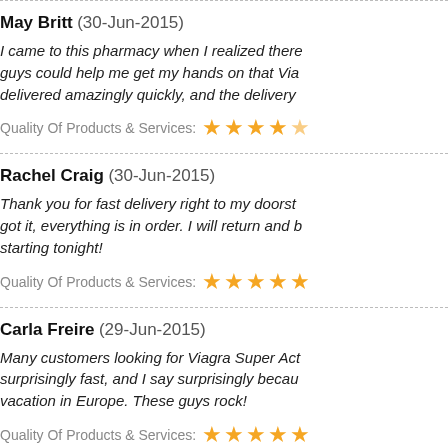May Britt (30-Jun-2015)
I came to this pharmacy when I realized there guys could help me get my hands on that Via delivered amazingly quickly, and the delivery
Quality Of Products & Services: ★★★★☆
Rachel Craig (30-Jun-2015)
Thank you for fast delivery right to my doorst got it, everything is in order. I will return and b starting tonight!
Quality Of Products & Services: ★★★★★
Carla Freire (29-Jun-2015)
Many customers looking for Viagra Super Act surprisingly fast, and I say surprisingly becau vacation in Europe. These guys rock!
Quality Of Products & Services: ★★★★★
Carlos Melo (29-Jun-2015)
Erectile dysfunction is no reason to get upset